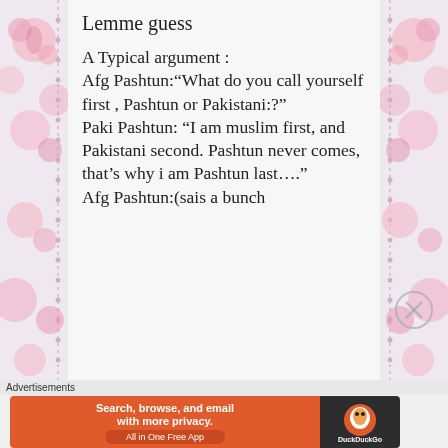Lemme guess
A Typical argument :
Afg Pashtun:“What do you call yourself first , Pashtun or Pakistani:?”
Paki Pashtun: “I am muslim first, and Pakistani second. Pashtun never comes, that’s why i am Pashtun last….”
Afg Pashtun:(sais a bunch
Advertisements
[Figure (screenshot): DuckDuckGo advertisement banner: orange background with text 'Search, browse, and email with more privacy. All in One Free App' and DuckDuckGo logo on the right.]